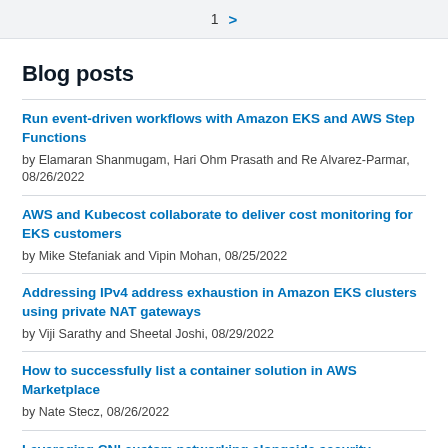1 >
Blog posts
Run event-driven workflows with Amazon EKS and AWS Step Functions
by Elamaran Shanmugam, Hari Ohm Prasath and Re Alvarez-Parmar, 08/26/2022
AWS and Kubecost collaborate to deliver cost monitoring for EKS customers
by Mike Stefaniak and Vipin Mohan, 08/25/2022
Addressing IPv4 address exhaustion in Amazon EKS clusters using private NAT gateways
by Viji Sarathy and Sheetal Joshi, 08/29/2022
How to successfully list a container solution in AWS Marketplace
by Nate Stecz, 08/26/2022
Leveraging CNI custom networking alongside security